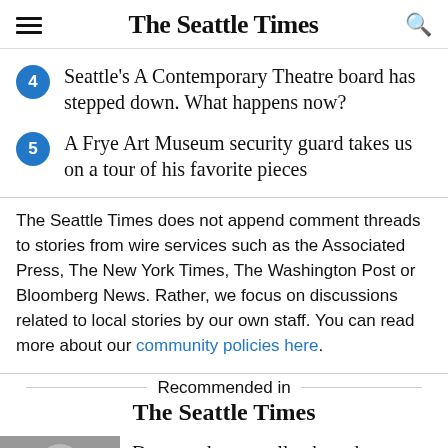The Seattle Times
Seattle's A Contemporary Theatre board has stepped down. What happens now?
A Frye Art Museum security guard takes us on a tour of his favorite pieces
The Seattle Times does not append comment threads to stories from wire services such as the Associated Press, The New York Times, The Washington Post or Bloomberg News. Rather, we focus on discussions related to local stories by our own staff. You can read more about our community policies here.
Recommended in The Seattle Times
Doctor who sexually abused